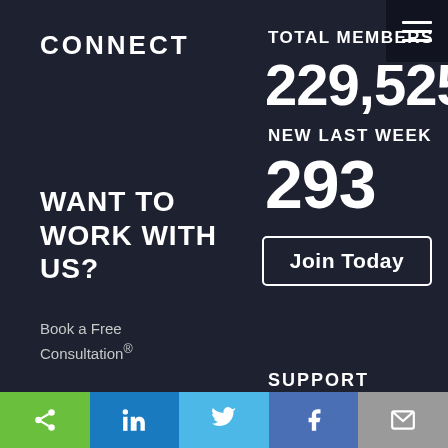CONNECT
TOTAL MEMBERS
229,525
NEW LAST WEEK
293
Join Today
WANT TO WORK WITH US?
Book a Free Consultation®
SUPPORT
Contact Us
Terms of Use
Privacy Policy
Call Us 1 (866) 277-7275
[Figure (other): Social share icons bar at bottom: share (green), LinkedIn (blue), Twitter (light blue), Facebook (blue), mail (grey)]